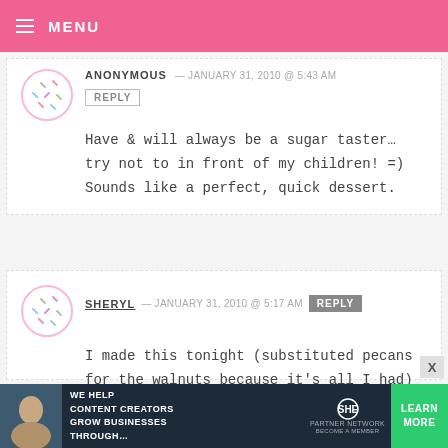MENU
ANONYMOUS — JANUARY 31, 2010 @ 5:43 AM
REPLY
Have & will always be a sugar taster... try not to in front of my children! =) Sounds like a perfect, quick dessert.
SHERYL — JANUARY 31, 2010 @ 5:17 AM REPLY
I made this tonight (substituted pecans for the walnuts because it's all I had) and my family loved it! I forgot to buy
WE HELP CONTENT CREATORS GROW BUSINESSES THROUGH... SHE PARTNER NETWORK BECOME A MEMBER LEARN MORE